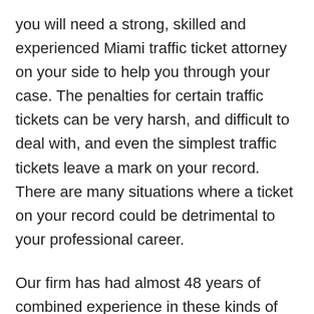you will need a strong, skilled and experienced Miami traffic ticket attorney on your side to help you through your case. The penalties for certain traffic tickets can be very harsh, and difficult to deal with, and even the simplest traffic tickets leave a mark on your record. There are many situations where a ticket on your record could be detrimental to your professional career.
Our firm has had almost 48 years of combined experience in these kinds of cases, our firm is here to aid those who cannot afford to have a ticket on their record, as well as those who have been wrongly charged. If you have been given a traffic ticket it is crucial that you contact a Miami traffic ticket lawyer from Parks & Braxton, PA immediately. We have already successfully